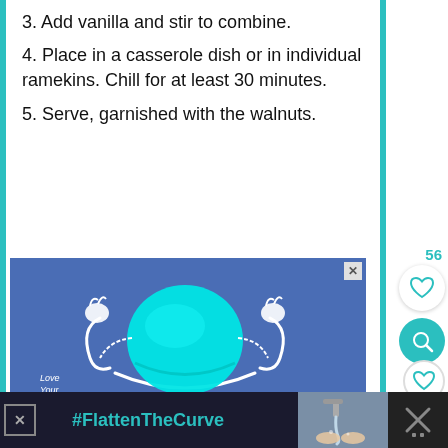3. Add vanilla and stir to combine.
4. Place in a casserole dish or in individual ramekins. Chill for at least 30 minutes.
5. Serve, garnished with the walnuts.
[Figure (illustration): Advertisement banner with blue background showing a surgical/medical mask illustration with arms raised, text 'Love Your Smile.' and '#HelpByDesign']
[Figure (illustration): Bottom advertisement banner with dark background showing '#FlattenTheCurve' text in teal, photo of hands being washed under a faucet]